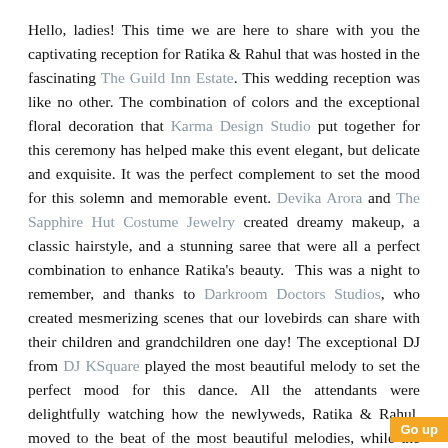Hello, ladies! This time we are here to share with you the captivating reception for Ratika & Rahul that was hosted in the fascinating The Guild Inn Estate. This wedding reception was like no other. The combination of colors and the exceptional floral decoration that Karma Design Studio put together for this ceremony has helped make this event elegant, but delicate and exquisite. It was the perfect complement to set the mood for this solemn and memorable event. Devika Arora and The Sapphire Hut Costume Jewelry created dreamy makeup, a classic hairstyle, and a stunning saree that were all a perfect combination to enhance Ratika's beauty.  This was a night to remember, and thanks to Darkroom Doctors Studios, who created mesmerizing scenes that our lovebirds can share with their children and grandchildren one day! The exceptional DJ from DJ KSquare played the most beautiful melody to set the perfect mood for this dance. All the attendants were delightfully watching how the newlyweds, Ratika & Rahul, moved to the beat of the most beautiful melodies, while the elegant chandelier provided the perfect spotlight to enhance this romantic, luxurious, and amazing scenery. Along with the Lipica & Madhvi, Bollywood Performers & Instructors created the perfect performance that will amaze every spectator. We are very glad to know that we can always relieve this everlasting love story by